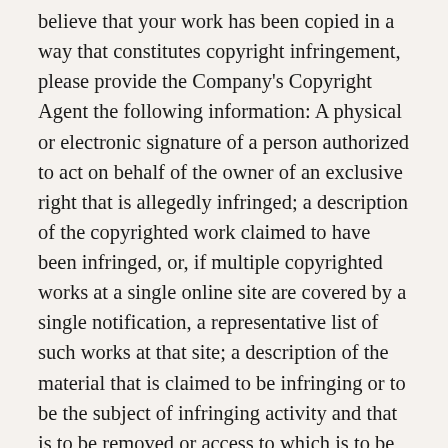believe that your work has been copied in a way that constitutes copyright infringement, please provide the Company's Copyright Agent the following information: A physical or electronic signature of a person authorized to act on behalf of the owner of an exclusive right that is allegedly infringed; a description of the copyrighted work claimed to have been infringed, or, if multiple copyrighted works at a single online site are covered by a single notification, a representative list of such works at that site; a description of the material that is claimed to be infringing or to be the subject of infringing activity and that is to be removed or access to which is to be disabled, and information reasonably sufficient to permit us to locate the material; your address, telephone number, and email address; a written statement that the complaining party has a good-faith belief that use of the material in the manner